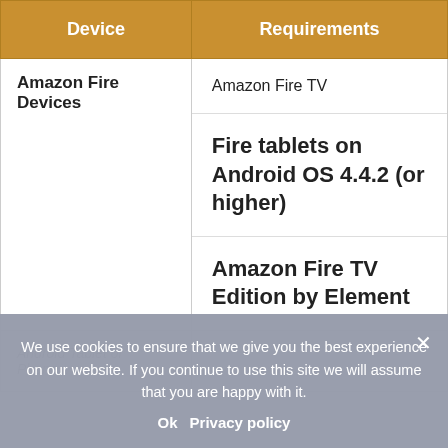| Device | Requirements |
| --- | --- |
| Amazon Fire Devices | Amazon Fire TV
Fire tablets on Android OS 4.4.2 (or higher)
Amazon Fire TV Edition by Element |
| Android Tablet or Phone... |  |
We use cookies to ensure that we give you the best experience on our website. If you continue to use this site we will assume that you are happy with it.
Ok   Privacy policy